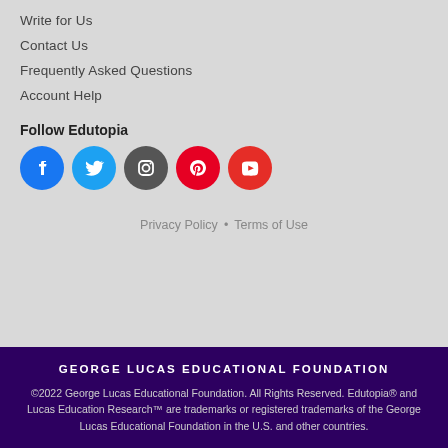Write for Us
Contact Us
Frequently Asked Questions
Account Help
Follow Edutopia
[Figure (illustration): Row of five social media icon circles: Facebook (blue), Twitter (light blue), Instagram (dark gray), Pinterest (red), YouTube (red)]
Privacy Policy • Terms of Use
GEORGE LUCAS EDUCATIONAL FOUNDATION
©2022 George Lucas Educational Foundation. All Rights Reserved. Edutopia® and Lucas Education Research™ are trademarks or registered trademarks of the George Lucas Educational Foundation in the U.S. and other countries.